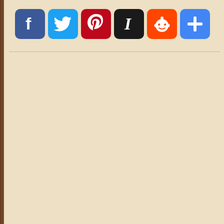[Figure (other): Social media sharing bar with six icon buttons: Facebook (blue), Twitter (light blue), Pinterest (red), Instapaper (black), Reddit (orange), and a generic share/add (blue) button.]